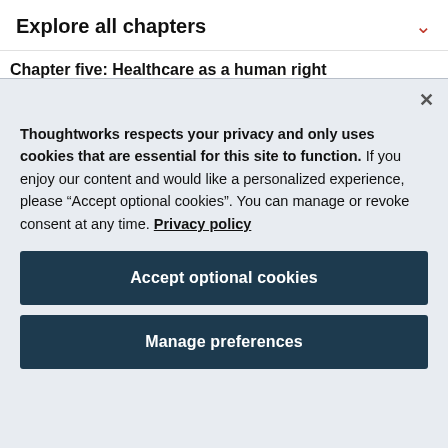Explore all chapters
Chapter five: Healthcare as a human right
Thoughtworks respects your privacy and only uses cookies that are essential for this site to function. If you enjoy our content and would like a personalized experience, please “Accept optional cookies”. You can manage or revoke consent at any time. Privacy policy
Accept optional cookies
Manage preferences